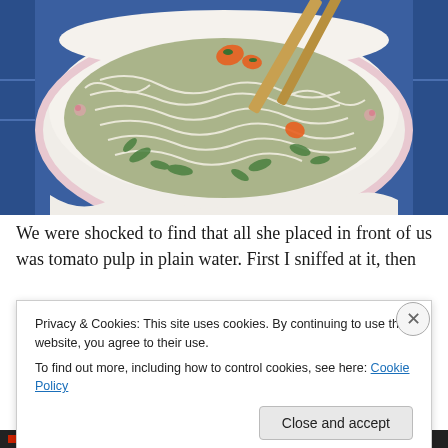[Figure (photo): A bowl of pho or Asian noodle soup with white rice noodles, green herbs (scallions/cilantro), orange/red pieces (likely tomato or carrot), and chopsticks resting on the rim. The bowl has a floral pattern and sits on a blue patterned tablecloth.]
We were shocked to find that all she placed in front of us was tomato pulp in plain water. First I sniffed at it, then
Privacy & Cookies: This site uses cookies. By continuing to use this website, you agree to their use.
To find out more, including how to control cookies, see here: Cookie Policy